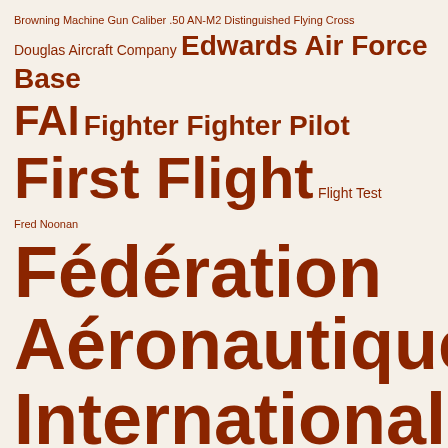[Figure (infographic): Tag cloud / word cloud with aviation and aerospace related terms in varying font sizes, all in a burnt orange/rust color on a beige background. Larger text indicates more frequent or prominent terms.]